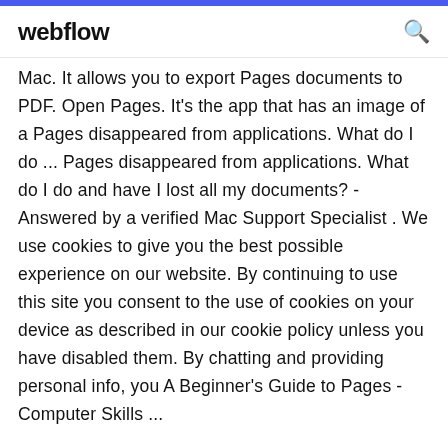webflow
Mac. It allows you to export Pages documents to PDF. Open Pages. It's the app that has an image of a Pages disappeared from applications. What do I do ... Pages disappeared from applications. What do I do and have I lost all my documents? - Answered by a verified Mac Support Specialist . We use cookies to give you the best possible experience on our website. By continuing to use this site you consent to the use of cookies on your device as described in our cookie policy unless you have disabled them. By chatting and providing personal info, you A Beginner's Guide to Pages - Computer Skills ...